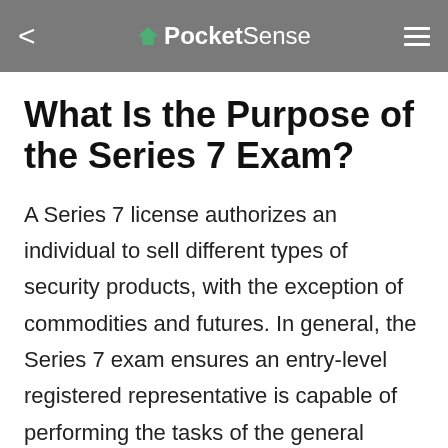PocketSense
What Is the Purpose of the Series 7 Exam?
A Series 7 license authorizes an individual to sell different types of security products, with the exception of commodities and futures. In general, the Series 7 exam ensures an entry-level registered representative is capable of performing the tasks of the general securities representative role, such as the sale of corporate securities, municipal securities, investment company securities,